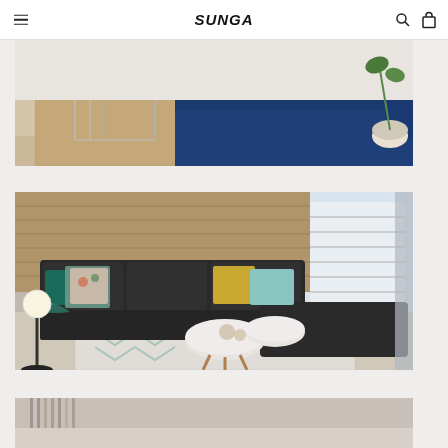SUNGA
[Figure (photo): Living room scene showing white nesting side tables with chrome frames arranged in front of a navy blue sofa on a beige jute rug, with a plant in the background]
[Figure (photo): Living room scene showing a large dark charcoal L-shaped sectional sofa with teal, yellow, and floral throw pillows, two round white coffee tables with wooden legs on a geometric pattern rug, wood plank feature wall, and floor lamp]
[Figure (photo): Partially visible living room furniture photo at the bottom of the page]